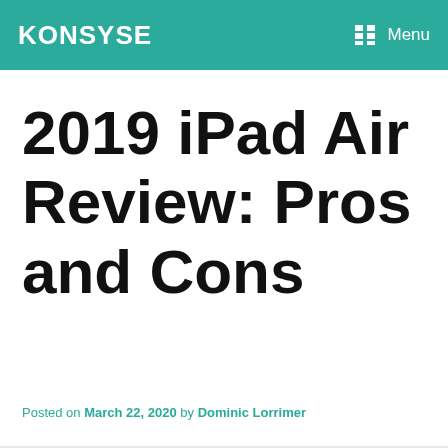KONSYSE   Menu
2019 iPad Air Review: Pros and Cons
Posted on March 22, 2020 by Dominic Lorrimer